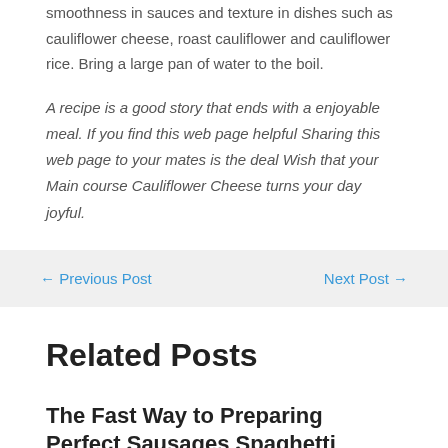smoothness in sauces and texture in dishes such as cauliflower cheese, roast cauliflower and cauliflower rice. Bring a large pan of water to the boil.
A recipe is a good story that ends with a enjoyable meal. If you find this web page helpful Sharing this web page to your mates is the deal Wish that your Main course Cauliflower Cheese turns your day joyful.
← Previous Post
Next Post →
Related Posts
The Fast Way to Preparing Perfect Sausages Spaghetti